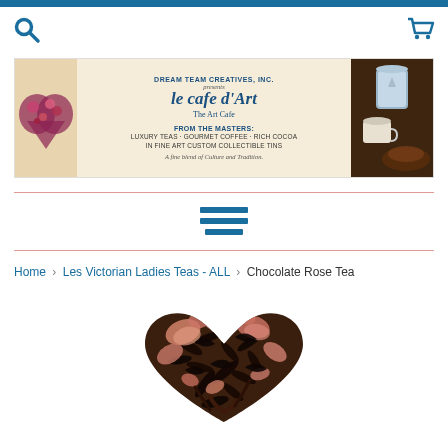[Figure (logo): Website header with search icon (top left) and shopping cart icon (top right) on white background with blue top bar]
[Figure (illustration): Le cafe d'Art banner - Dream Team Creatives Inc. presents le cafe d'Art The Art Cafe. From The Masters: Luxury Teas - Gourmet Coffee - Rich Cocoa in Fine Art Custom Collectible Tins. A fine blend of Culture and Tradition. Banner has cream background with floral heart image on left and tin/cup photo on right.]
[Figure (other): Hamburger menu icon (three horizontal blue lines) centered on page]
Home › Les Victorian Ladies Teas - ALL › Chocolate Rose Tea
[Figure (photo): Heart-shaped pile of loose leaf Chocolate Rose Tea with pink rose petals and dark tea leaves arranged in a heart formation]